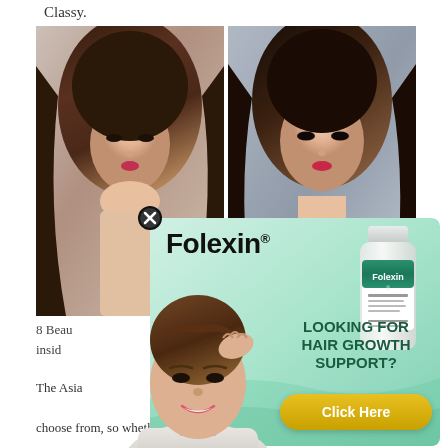Classy.
[Figure (photo): Two Asian women with long brown hair shown side by side, portrait style photos]
8 Beau... Ideas insid... Hair
The Asia... ons well wit... everal Asian façade haïrstyles to choose from, so whether you want
[Figure (advertisement): Folexin hair growth supplement advertisement overlay with a man touching his hair, a supplement bottle, and text 'LOOKING FOR HAIR GROWTH SUPPORT?' with a yellow 'Click Here' button]